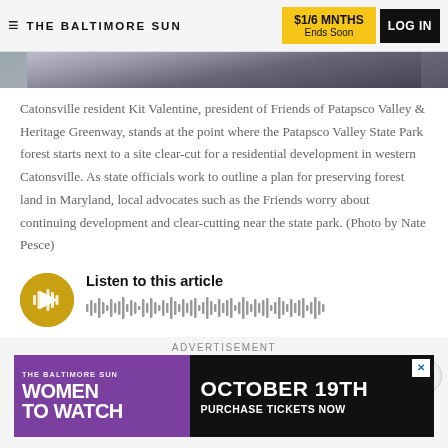THE BALTIMORE SUN | $1/6 MNTHS Ends Soon | LOG IN
[Figure (photo): Partial view of a photo showing a sky/outdoor scene, cropped at top]
Catonsville resident Kit Valentine, president of Friends of Patapsco Valley & Heritage Greenway, stands at the point where the Patapsco Valley State Park forest starts next to a site clear-cut for a residential development in western Catonsville. As state officials work to outline a plan for preserving forest land in Maryland, local advocates such as the Friends worry about continuing development and clear-cutting near the state park. (Photo by Nate Pesce)
[Figure (other): Audio player widget with golden play button and waveform visualization. Title: Listen to this article]
ADVERTISEMENT
[Figure (other): Advertisement banner for The Baltimore Sun Women to Watch event, October 19th, Purchase Tickets Now]